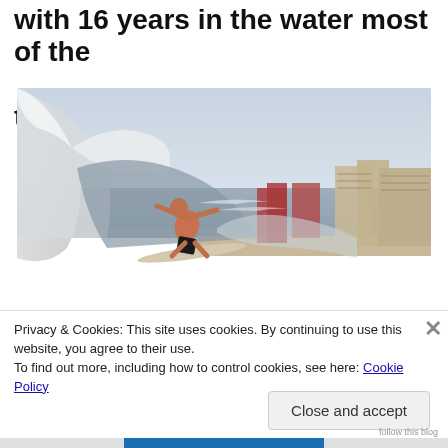with 16 years in the water most of the time?
[Figure (photo): A bald surfer riding a large wave on a surfboard near a beach with hotel/apartment buildings visible in the background under an overcast sky.]
Privacy & Cookies: This site uses cookies. By continuing to use this website, you agree to their use.
To find out more, including how to control cookies, see here: Cookie Policy